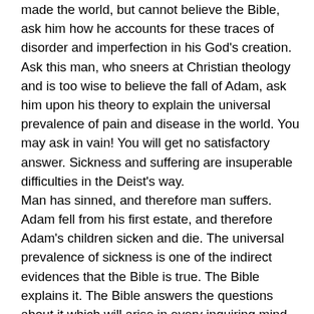made the world, but cannot believe the Bible, ask him how he accounts for these traces of disorder and imperfection in his God's creation. Ask this man, who sneers at Christian theology and is too wise to believe the fall of Adam, ask him upon his theory to explain the universal prevalence of pain and disease in the world. You may ask in vain! You will get no satisfactory answer. Sickness and suffering are insuperable difficulties in the Deist's way. Man has sinned, and therefore man suffers. Adam fell from his first estate, and therefore Adam's children sicken and die. The universal prevalence of sickness is one of the indirect evidences that the Bible is true. The Bible explains it. The Bible answers the questions about it which will arise in every inquiring mind. No other systems of religion can do this. They all fail here. They are silent. They are confounded. The